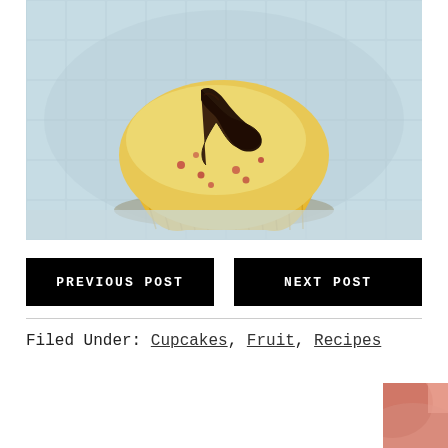[Figure (photo): Close-up photograph of a cupcake with yellow batter studded with small red fruit pieces, in a ribbed yellow paper liner, topped with a dark chocolate ganache drizzle, placed on a light blue/grey tiled or fabric surface]
PREVIOUS POST
NEXT POST
Filed Under: Cupcakes, Fruit, Recipes
[Figure (photo): Partial view of another photo visible at the bottom right corner, showing a pinkish/reddish food item]